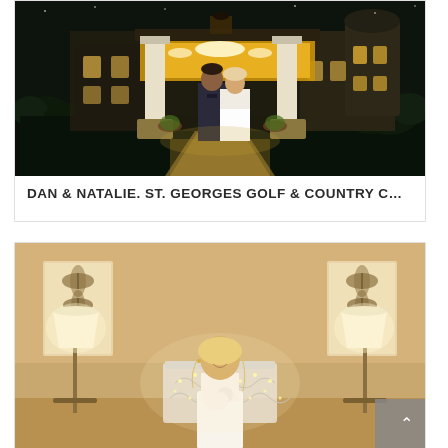[Figure (photo): Nighttime photo of a bride and groom standing together in front of an illuminated entrance canopy of the St. Georges Golf & Country Club. The building has white columns, warm lighting, and a turret visible on the right side.]
DAN & NATALIE. ST. GEORGES GOLF & COUNTRY C…
[Figure (photo): Indoor photo of a bride sitting in a decorative white iron bench/loveseat adorned with fairy lights, flanked by two table lamps on stands. Butterfly artwork visible on walls in the background. Warm, intimate lighting.]